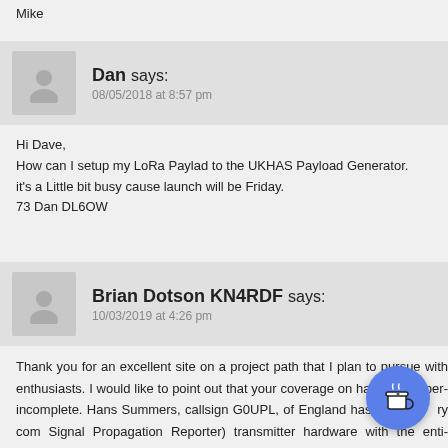Mike
Dan says:
08/05/2018 at 8:57 pm
Hi Dave,
How can I setup my LoRa Paylad to the UKHAS Payload Generator.
it's a Little bit busy cause launch will be Friday.
73 Dan DL6OW
Brian Dotson KN4RDF says:
10/03/2019 at 4:26 pm
Thank you for an excellent site on a project path that I plan to pursue with enthusiasts. I would like to point out that your coverage on ham radio operators is incomplete. Hans Summers, callsign G0UPL, of England has designed very compact (Signal Propagation Reporter) transmitter hardware with the entire system weighing including a Ni-Cad battery and solar panels. This makes a $100 – possible with cheap China – sourced (eBay) mylar balloon. These flights have been going on and one of the latest flight pages on Hans' QRP Labs kit business website pages if you